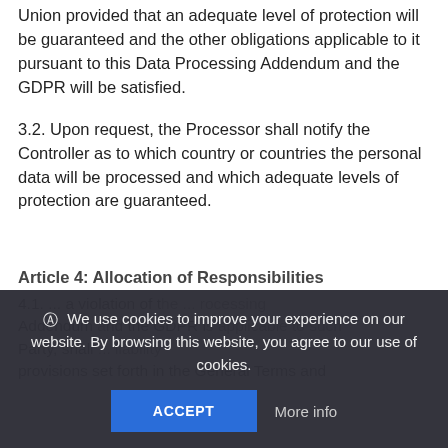Union provided that an adequate level of protection will be guaranteed and the other obligations applicable to it pursuant to this Data Processing Addendum and the GDPR will be satisfied.
3.2. Upon request, the Processor shall notify the Controller as to which country or countries the personal data will be processed and which adequate levels of protection are guaranteed.
Article 4: Allocation of Responsibilities
4.1. ... a violation of the ... Processing Addendum and the GDPR is applicable to such Party, shall ... liability provisions set forth in the General Terms and
We use cookies to improve your experience on our website. By browsing this website, you agree to our use of cookies.